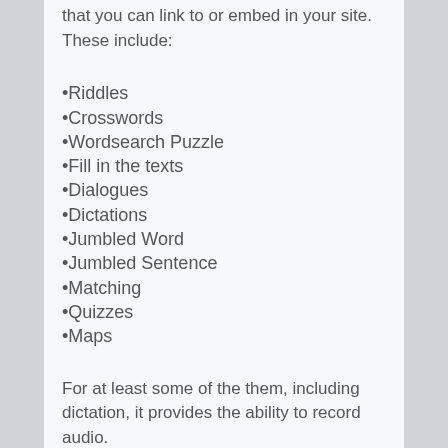that you can link to or embed in your site. These include:
•Riddles
•Crosswords
•Wordsearch Puzzle
•Fill in the texts
•Dialogues
•Dictations
•Jumbled Word
•Jumbled Sentence
•Matching
•Quizzes
•Maps
For at least some of the them, including dictation, it provides the ability to record audio.